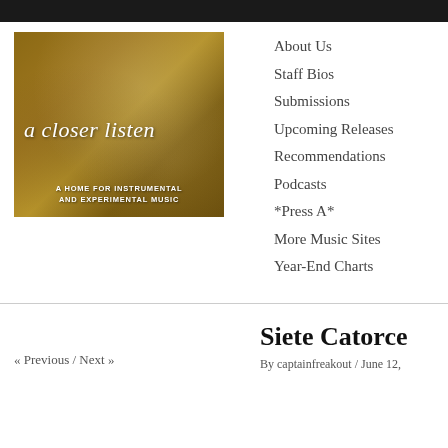[Figure (logo): A Closer Listen logo — brown textured background with italic white text 'a closer listen' and subtitle 'A HOME FOR INSTRUMENTAL AND EXPERIMENTAL MUSIC']
About Us
Staff Bios
Submissions
Upcoming Releases
Recommendations
Podcasts
*Press A*
More Music Sites
Year-End Charts
Siete Catorce
« Previous / Next »
By captainfreakout / June 12,